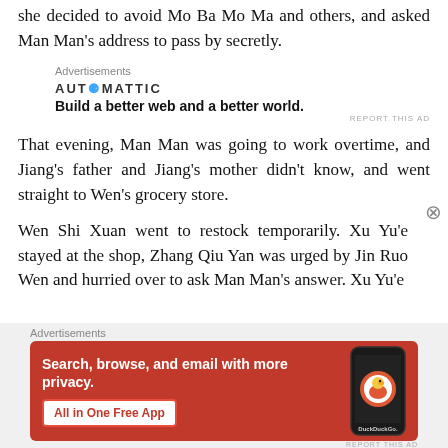she decided to avoid Mo Ba Mo Ma and others, and asked Man Man's address to pass by secretly.
Advertisements
[Figure (other): Automattic advertisement: logo with tagline 'Build a better web and a better world.']
That evening, Man Man was going to work overtime, and Jiang's father and Jiang's mother didn't know, and went straight to Wen's grocery store.
Wen Shi Xuan went to restock temporarily. Xu Yu'e stayed at the shop, Zhang Qiu Yan was urged by Jin Ruo Wen and hurried over to ask Man Man's answer. Xu Yu'e
Advertisements
[Figure (other): DuckDuckGo advertisement: orange background with text 'Search, browse, and email with more privacy. All in One Free App' and phone image with DuckDuckGo logo.]